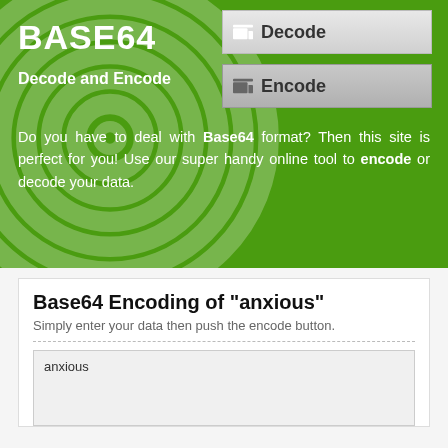BASE64
Decode and Encode
Do you have to deal with Base64 format? Then this site is perfect for you! Use our super handy online tool to encode or decode your data.
Base64 Encoding of "anxious"
Simply enter your data then push the encode button.
anxious